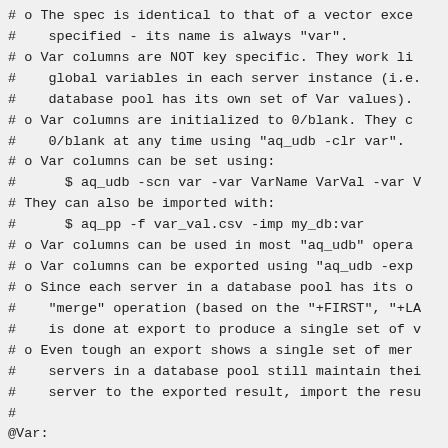# o The spec is identical to that of a vector exce
#    specified - its name is always "var".
# o Var columns are NOT key specific. They work li
#    global variables in each server instance (i.e.
#    database pool has its own set of Var values).
# o Var columns are initialized to 0/blank. They c
#    0/blank at any time using "aq_udb -clr var".
# o Var columns can be set using:
#      $ aq_udb -scn var -var VarName VarVal -var V
# They can also be imported with:
#      $ aq_pp -f var_val.csv -imp my_db:var
# o Var columns can be used in most "aq_udb" opera
# o Var columns can be exported using "aq_udb -exp
# o Since each server in a database pool has its o
#    "merge" operation (based on the "+FIRST", "+LA
#    is done at export to produce a single set of v
# o Even tough an export shows a single set of mer
#    servers in a database pool still maintain thei
#    server to the exported result, import the resu
#
@Var:
   s:g_str_1
   l+bor:g_flag_1